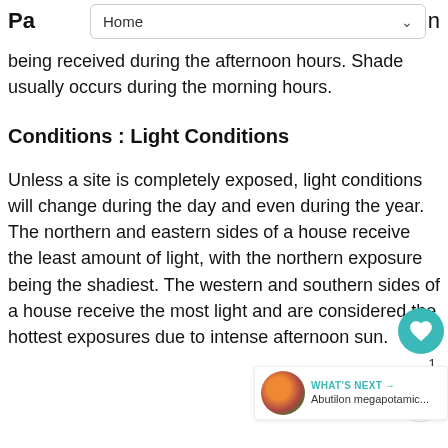Pa … n
being received during the afternoon hours. Shade usually occurs during the morning hours.
Conditions : Light Conditions
Unless a site is completely exposed, light conditions will change during the day and even during the year. The northern and eastern sides of a house receive the least amount of light, with the northern exposure being the shadiest. The western and southern sides of a house receive the most light and are considered the hottest exposures due to intense afternoon sun.